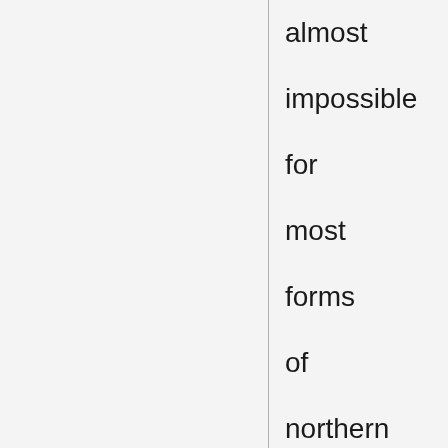almost impossible for most forms of northern livestock to thrive. These problems have been compounded by